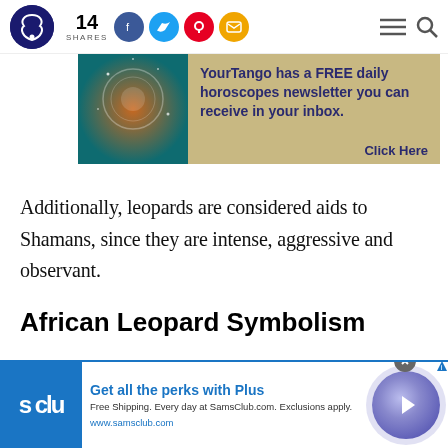14 SHARES — YourTango social share header with Facebook, Twitter, Pinterest, Email buttons
[Figure (screenshot): YourTango horoscope newsletter advertisement banner with teal/orange astrology background image and tan background text area reading: YourTango has a FREE daily horoscopes newsletter you can receive in your inbox. Click Here]
Additionally, leopards are considered aids to Shamans, since they are intense, aggressive and observant.
African Leopard Symbolism
[Figure (screenshot): Sam's Club advertisement banner at bottom: Get all the perks with Plus. Free Shipping. Every day at SamsClub.com. Exclusions apply. www.samsclub.com. With blue S Club logo and purple circular arrow button.]